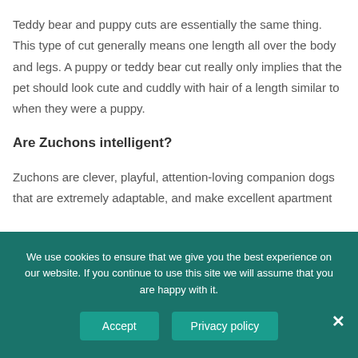Teddy bear and puppy cuts are essentially the same thing. This type of cut generally means one length all over the body and legs. A puppy or teddy bear cut really only implies that the pet should look cute and cuddly with hair of a length similar to when they were a puppy.
Are Zuchons intelligent?
Zuchons are clever, playful, attention-loving companion dogs that are extremely adaptable, and make excellent apartment
We use cookies to ensure that we give you the best experience on our website. If you continue to use this site we will assume that you are happy with it.